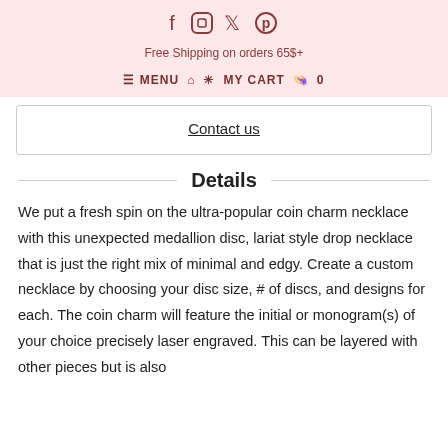Social icons: Facebook, Instagram, Twitter, Pinterest
Free Shipping on orders 65$+
≡ MENU  🏠 👤  MY CART 🛍 0
Contact us
Details
We put a fresh spin on the ultra-popular coin charm necklace with this unexpected medallion disc, lariat style drop necklace that is just the right mix of minimal and edgy. Create a custom necklace by choosing your disc size, # of discs, and designs for each. The coin charm will feature the initial or monogram(s) of your choice precisely laser engraved. This can be layered with other pieces but is also